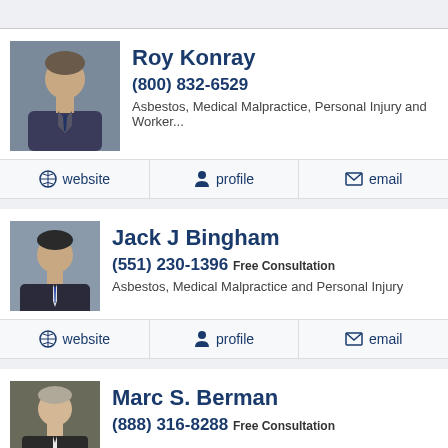Roy Konray
(800) 832-6529
Asbestos, Medical Malpractice, Personal Injury and Worker...
website | profile | email
Jack J Bingham
(551) 230-1396 Free Consultation
Asbestos, Medical Malpractice and Personal Injury
website | profile | email
Marc S. Berman
(888) 316-8288 Free Consultation